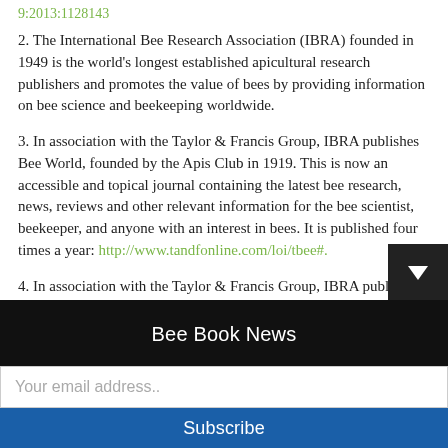9:2013:1128143
2. The International Bee Research Association (IBRA) founded in 1949 is the world's longest established apicultural research publishers and promotes the value of bees by providing information on bee science and beekeeping worldwide.
3. In association with the Taylor & Francis Group, IBRA publishes Bee World, founded by the Apis Club in 1919. This is now an accessible and topical journal containing the latest bee research, news, reviews and other relevant information for the bee scientist, beekeeper, and anyone with an interest in bees. It is published four times a year: http://www.tandfonline.com/loi/tbee#.
4. In association with the Taylor & Francis Group, IBRA publishes the peer-reviewed scientific journal the Journal of Apicultural Research, founded by IBRA
Bee Book News
Your email address..
Subscribe